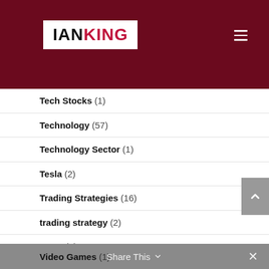[Figure (screenshot): Header with IAN KING logo on dark red/maroon background with hamburger menu icon]
Tech Stocks (1)
Technology (57)
Technology Sector (1)
Tesla (2)
Trading Strategies (16)
trading strategy (2)
TSLA (1)
Twitter (1)
U.S. Economy (12)
Uncategorized (1)
Video Games (1)